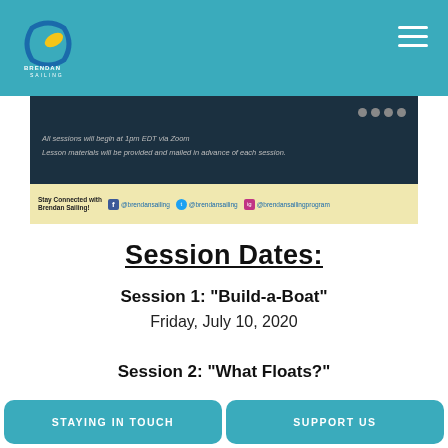Brendan Sailing navigation header
[Figure (screenshot): Banner with dark background showing session info text and yellow strip with social media handles: @brendansailing on Facebook, @brendansailing on Twitter, @brendansailingprogram on Instagram]
Session Dates:
Session 1: "Build-a-Boat"
Friday, July 10, 2020
Session 2: "What Floats?"
STAYING IN TOUCH   SUPPORT US